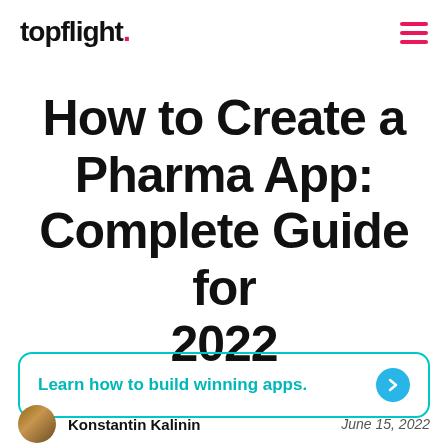topflight.
How to Create a Pharma App: Complete Guide for 2022
Learn how to build winning apps.
Konstantin Kalinin   June 15, 2022